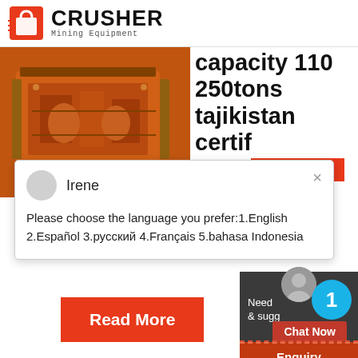[Figure (logo): Crusher Mining Equipment logo with red shopping bag icon and bold CRUSHER text]
[Figure (photo): Orange heavy mining crusher machine equipment]
capacity 110 250tons tajikistan certif
24Hrs Online
[Figure (screenshot): Chat popup with avatar of Irene and message about language selection]
Irene
Please choose the language you prefer:1.English 2.Español 3.русский 4.Français 5.bahasa Indonesia
Read More
1
Need & sugg
Chat Now
Enquiry
limingjlmofen@sina.com
[Figure (photo): Mining site with trucks and mountainous terrain]
Hsm Is Por Le
×